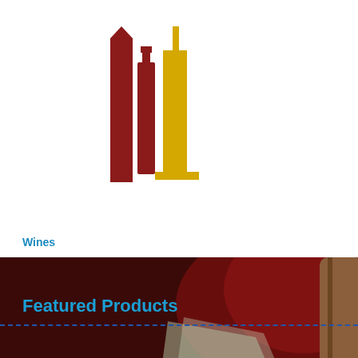[Figure (logo): Wine bottle logo with two stylized columns in dark red and gold/yellow colors]
Wines
[Figure (photo): Dark red/maroon background photo showing fruits including grapes, pears and other produce with wine barrel at right, overlaid with text 'Spain']
Featured Products